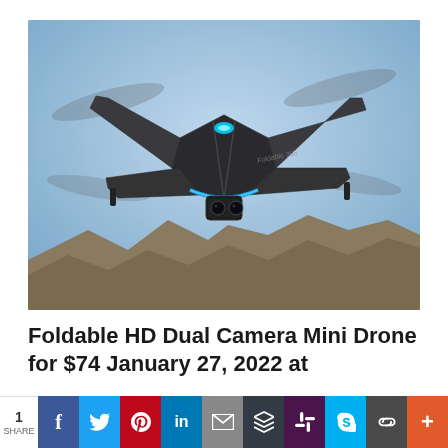[Figure (photo): A foldable mini drone with HD dual cameras flying against a blue sky background, with blurred propellers and a glowing blue LED light on the front. The drone is dark gray/black in color with the text 'Foldable 365' visible on the body. Rocky terrain is visible at the bottom of the image.]
Foldable HD Dual Camera Mini Drone for $74 January 27, 2022 at
1 SHARE | Facebook | Twitter | Pinterest | LinkedIn | Email | Buffer | Slack | Skype | Copy Link | More